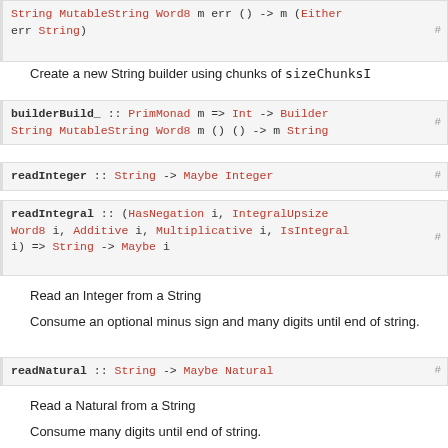String MutableString Word8 m err () -> m (Either err String)
Create a new String builder using chunks of sizeChunksI
builderBuild_ :: PrimMonad m => Int -> Builder String MutableString Word8 m () () -> m String
readInteger :: String -> Maybe Integer
readIntegral :: (HasNegation i, IntegralUpsize Word8 i, Additive i, Multiplicative i, IsIntegral i) => String -> Maybe i
Read an Integer from a String
Consume an optional minus sign and many digits until end of string.
readNatural :: String -> Maybe Natural
Read a Natural from a String
Consume many digits until end of string.